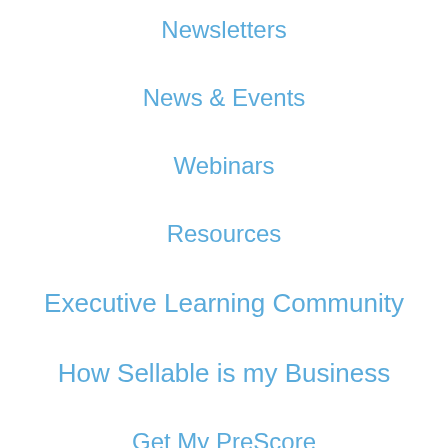Newsletters
News & Events
Webinars
Resources
Executive Learning Community
How Sellable is my Business
Get My PreScore
A b o u t
Meet Marc
Contact